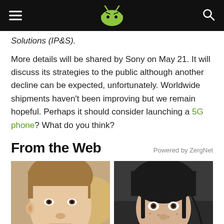AndroidPIT header with hamburger menu, logo, and search icon
Solutions (IP&S).
More details will be shared by Sony on May 21. It will discuss its strategies to the public although another decline can be expected, unfortunately. Worldwide shipments haven't been improving but we remain hopeful. Perhaps it should consider launching a 5G phone? What do you think?
From the Web
Powered by ZergNet
[Figure (photo): Close-up photo of a young man with brown hair and light skin]
[Figure (photo): Photo of a man wearing a black head-mounted device/helmet with cables]